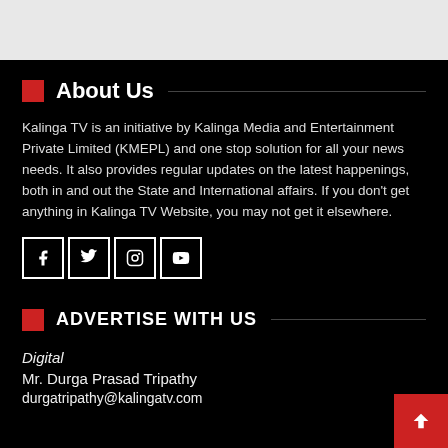About Us
Kalinga TV is an initiative by Kalinga Media and Entertainment Private Limited (KMEPL) and one stop solution for all your news needs. It also provides regular updates on the latest happenings, both in and out the State and International affairs. If you don't get anything in Kalinga TV Website, you may not get it elsewhere.
[Figure (illustration): Social media icons: Facebook, Twitter, Instagram, YouTube in square bordered boxes]
ADVERTISE WITH US
Digital
Mr. Durga Prasad Tripathy
durgatripathy@kalingatv.com